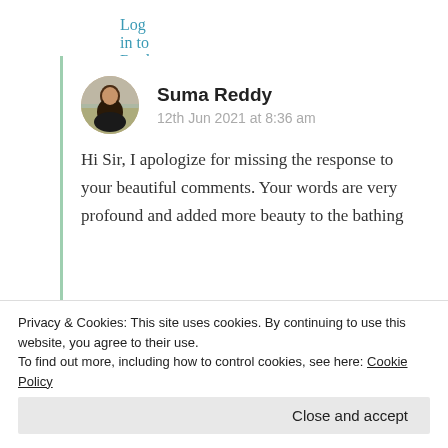Log in to Reply
Suma Reddy
12th Jun 2021 at 8:36 am
Hi Sir, I apologize for missing the response to your beautiful comments. Your words are very profound and added more beauty to the bathing
Privacy & Cookies: This site uses cookies. By continuing to use this website, you agree to their use.
To find out more, including how to control cookies, see here: Cookie Policy
Close and accept